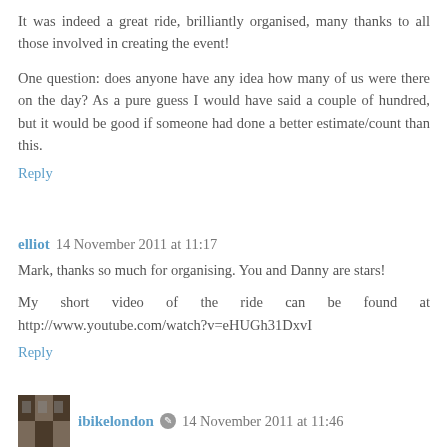It was indeed a great ride, brilliantly organised, many thanks to all those involved in creating the event!
One question: does anyone have any idea how many of us were there on the day? As a pure guess I would have said a couple of hundred, but it would be good if someone had done a better estimate/count than this.
Reply
elliot  14 November 2011 at 11:17
Mark, thanks so much for organising. You and Danny are stars!
My short video of the ride can be found at http://www.youtube.com/watch?v=eHUGh31DxvI
Reply
ibikelondon  14 November 2011 at 11:46